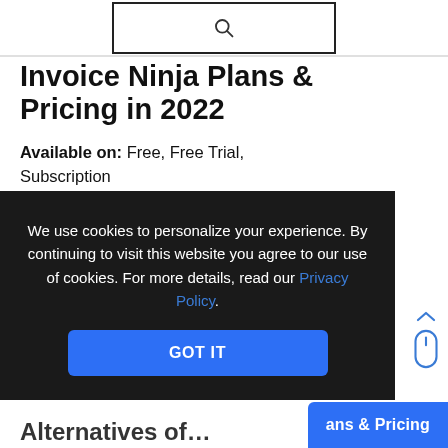[Figure (other): Search bar icon at top center]
Invoice Ninja Plans & Pricing in 2022
Available on: Free, Free Trial, Subscription
Starting Price: $10.00/month
Pricing Module:
Forever Free Ninja Pro…
We use cookies to personalize your experience. By continuing to visit this website you agree to our use of cookies. For more details, read our Privacy Policy.
GOT IT
ans & Pricing
Alternatives of…